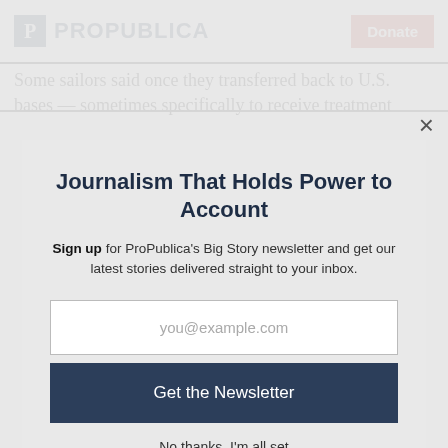ProPublica — Donate
Some sailors said once they transferred back to U.S. bases — sometimes specifically to receive treatment
Journalism That Holds Power to Account
Sign up for ProPublica's Big Story newsletter and get our latest stories delivered straight to your inbox.
you@example.com
Get the Newsletter
No thanks, I'm all set
This site is protected by reCAPTCHA and the Google Privacy Policy and Terms of Service apply.